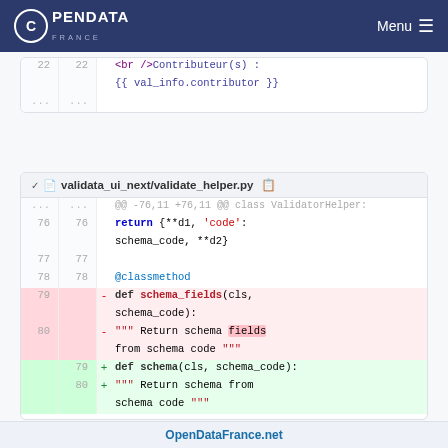OPENDATA FRANCE — Menu
[Figure (screenshot): Code diff snippet showing lines 22 and ellipsis with <br />Contributeur(s) : {{ val_info.contributor }}]
[Figure (screenshot): Code diff for validata_ui_next/validate_helper.py showing lines 76-80 with schema_fields renamed to schema]
OpenDataFrance.net